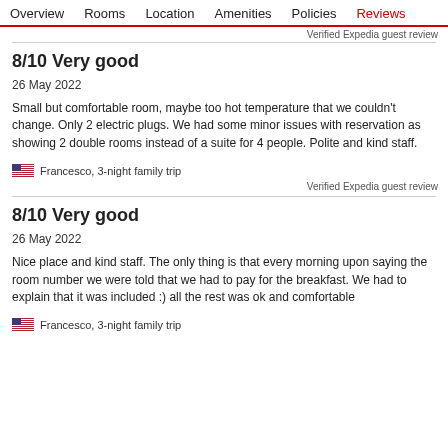Overview  Rooms  Location  Amenities  Policies  Reviews
Verified Expedia guest review
8/10 Very good
26 May 2022
Small but comfortable room, maybe too hot temperature that we couldn't change. Only 2 electric plugs. We had some minor issues with reservation as showing 2 double rooms instead of a suite for 4 people. Polite and kind staff.
Francesco, 3-night family trip
Verified Expedia guest review
8/10 Very good
26 May 2022
Nice place and kind staff. The only thing is that every morning upon saying the room number we were told that we had to pay for the breakfast. We had to explain that it was included :) all the rest was ok and comfortable
Francesco, 3-night family trip